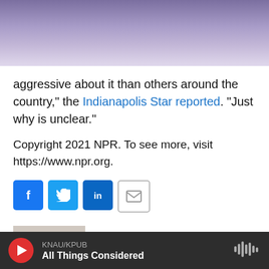[Figure (screenshot): KNAU NPR radio station website header with logo, hamburger menu, mountain background, and Donate button]
aggressive about it than others around the country," the Indianapolis Star reported. "Just why is unclear."
Copyright 2021 NPR. To see more, visit https://www.npr.org.
[Figure (infographic): Social share buttons: Facebook, Twitter, LinkedIn, Email]
[Figure (photo): Headshot photo of Merrit Kennedy]
Merrit Kennedy
Merrit Kennedy is a reporter for NPR's
KNAU/KPUB
All Things Considered